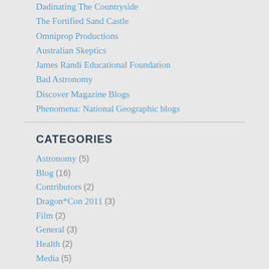Dadinating The Countryside
The Fortified Sand Castle
Omniprop Productions
Australian Skeptics
James Randi Educational Foundation
Bad Astronomy
Discover Magazine Blogs
Phenomena: National Geographic blogs
CATEGORIES
Astronomy (5)
Blog (16)
Contributors (2)
Dragon*Con 2011 (3)
Film (2)
General (3)
Health (2)
Media (5)
Movies (2)